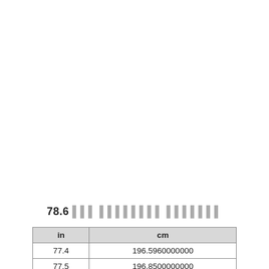78.6 [redacted glyphs]
| in | cm |
| --- | --- |
| 77.4 | 196.5960000000 |
| 77.5 | 196.8500000000 |